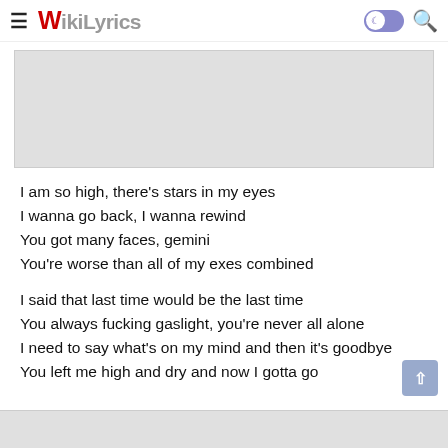WikiLyrics
[Figure (other): Grey advertisement placeholder banner at top of page]
I am so high, there’s stars in my eyes
I wanna go back, I wanna rewind
You got many faces, gemini
You’re worse than all of my exes combined
I said that last time would be the last time
You always fucking gaslight, you’re never all alone
I need to say what’s on my mind and then it’s goodbye
You left me high and dry and now I gotta go
[Figure (other): Grey advertisement placeholder banner at bottom of page]